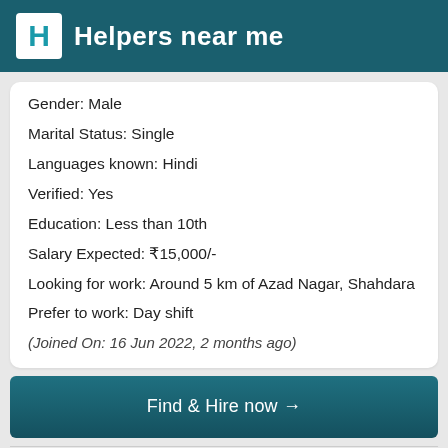Helpers near me
Gender: Male
Marital Status: Single
Languages known: Hindi
Verified: Yes
Education: Less than 10th
Salary Expected: ₹15,000/-
Looking for work: Around 5 km of Azad Nagar, Shahdara
Prefer to work: Day shift
(Joined On: 16 Jun 2022, 2 months ago)
Find & Hire now →